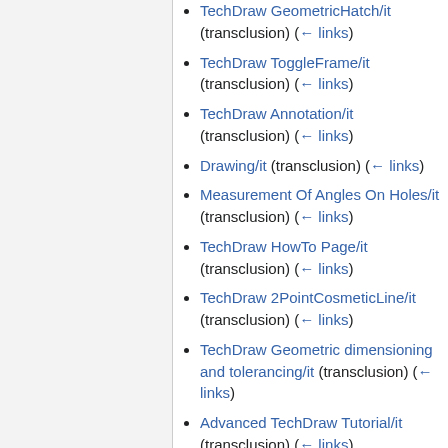TechDraw GeometricHatch/it (transclusion) (← links)
TechDraw ToggleFrame/it (transclusion) (← links)
TechDraw Annotation/it (transclusion) (← links)
Drawing/it (transclusion) (← links)
Measurement Of Angles On Holes/it (transclusion) (← links)
TechDraw HowTo Page/it (transclusion) (← links)
TechDraw 2PointCosmeticLine/it (transclusion) (← links)
TechDraw Geometric dimensioning and tolerancing/it (transclusion) (← links)
Advanced TechDraw Tutorial/it (transclusion) (← links)